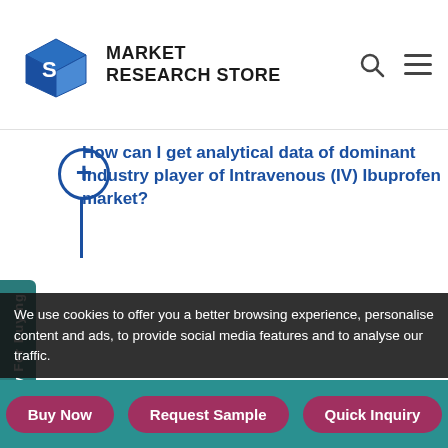MARKET RESEARCH STORE
How can I get analytical data of dominant industry player of Intravenous (IV) Ibuprofen market?
Which segment are offer in this report?
We use cookies to offer you a better browsing experience, personalise content and ads, to provide social media features and to analyse our traffic.
Buy Now | Request Sample | Quick Inquiry